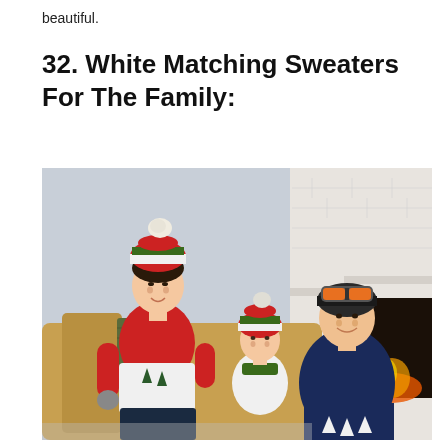beautiful.
32. White Matching Sweaters For The Family:
[Figure (photo): A family of three — a woman wearing a red and white Christmas sweater and a pom-pom knit hat, a young child in a matching white Christmas sweater with a similar hat, and a man in a navy Christmas sweater with a winter hat with ski goggles — sitting and posing together in front of a white brick fireplace in a cozy indoor setting.]